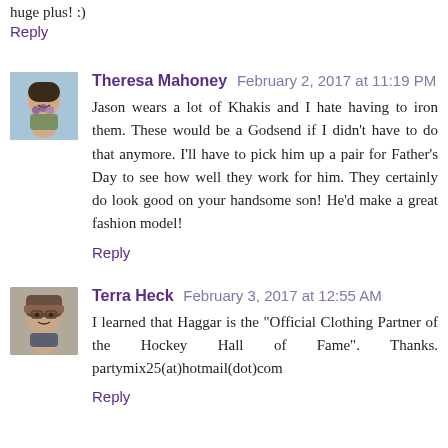huge plus! :)
Reply
Theresa Mahoney  February 2, 2017 at 11:19 PM
Jason wears a lot of Khakis and I hate having to iron them. These would be a Godsend if I didn't have to do that anymore. I'll have to pick him up a pair for Father's Day to see how well they work for him. They certainly do look good on your handsome son! He'd make a great fashion model!
Reply
Terra Heck  February 3, 2017 at 12:55 AM
I learned that Haggar is the "Official Clothing Partner of the Hockey Hall of Fame". Thanks. partymix25(at)hotmail(dot)com
Reply